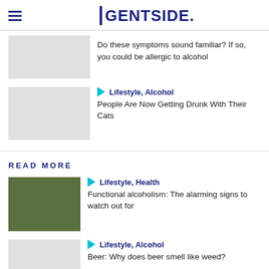GENTSIDE.
Do these symptoms sound familiar? If so, you could be allergic to alcohol
Lifestyle, Alcohol
People Are Now Getting Drunk With Their Cats
READ MORE
Lifestyle, Health
Functional alcoholism: The alarming signs to watch out for
Lifestyle, Alcohol
Beer: Why does beer smell like weed?
Lifestyle, ...